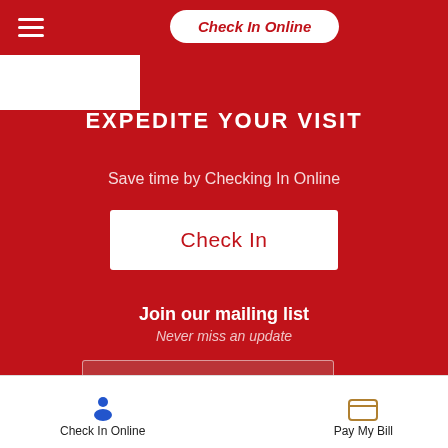Check In Online
EXPEDITE YOUR VISIT
Save time by Checking In Online
Check In
Join our mailing list
Never miss an update
Email Address
Subscribe Now
Check In Online
Pay My Bill